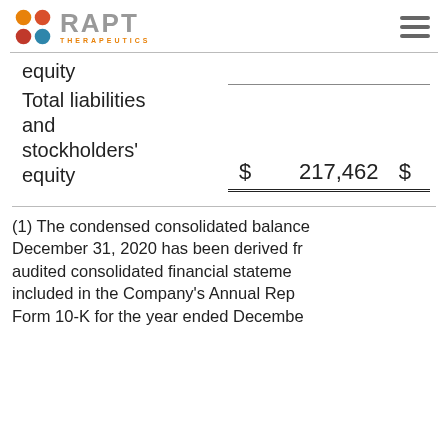RAPT Therapeutics
| equity |  |  |  |
| Total liabilities and stockholders' equity | $ | 217,462 | $ |
(1) The condensed consolidated balance sheet as of December 31, 2020 has been derived from the audited consolidated financial statements included in the Company's Annual Report on Form 10-K for the year ended December 31, 2020.